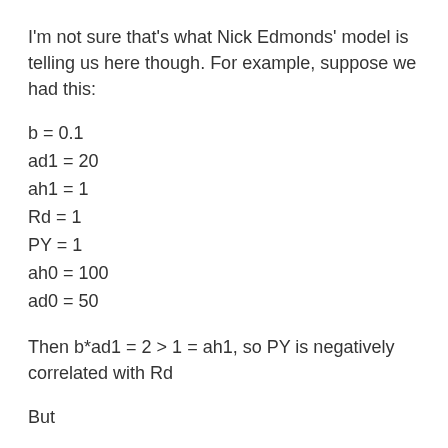I'm not sure that's what Nick Edmonds' model is telling us here though. For example, suppose we had this:
b = 0.1
ad1 = 20
ah1 = 1
Rd = 1
PY = 1
ah0 = 100
ad0 = 50
Then b*ad1 = 2 > 1 = ah1, so PY is negatively correlated with Rd
But
Hn = (100 - 1*1)*1 = 99
Hb = (50 + 20*1)*1*0.1 = 7